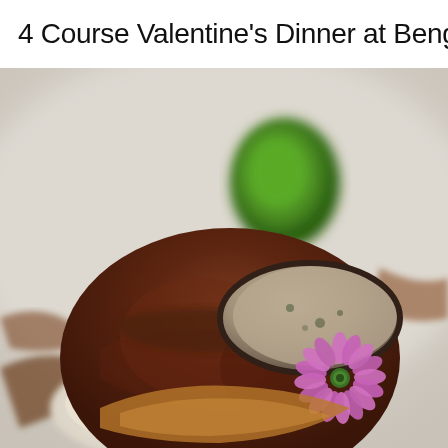4 Course Valentine's Dinner at Benga
[Figure (photo): Close-up food photography of a gourmet meat dish (likely beef fillet) topped with a black truffle slice, garnished with a pink daisy flower, served on mashed potatoes with brown sauce and a green vegetable on a white plate.]